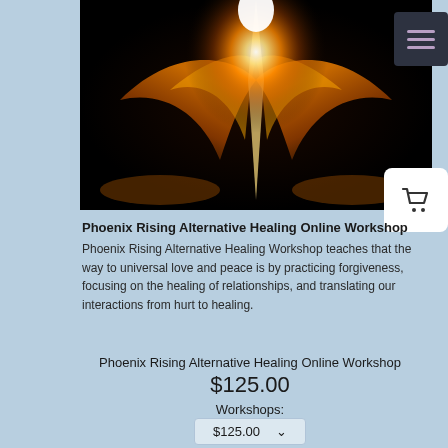[Figure (illustration): Phoenix rising image — glowing orange and golden flame-like wings symmetrically rising from a dark background, central bright white light at top]
Phoenix Rising Alternative Healing Online Workshop
Phoenix Rising Alternative Healing Workshop teaches that the way to universal love and peace is by practicing forgiveness, focusing on the healing of relationships, and translating our interactions from hurt to healing.
Phoenix Rising Alternative Healing Online Workshop
$125.00
Workshops:
$125.00